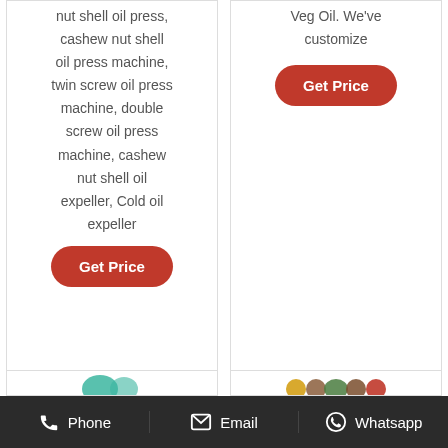nut shell oil press, cashew nut shell oil press machine, twin screw oil press machine, double screw oil press machine, cashew nut shell oil expeller, Cold oil expeller
Get Price
Veg Oil. We've customize
Get Price
Phone  Email  Whatsapp